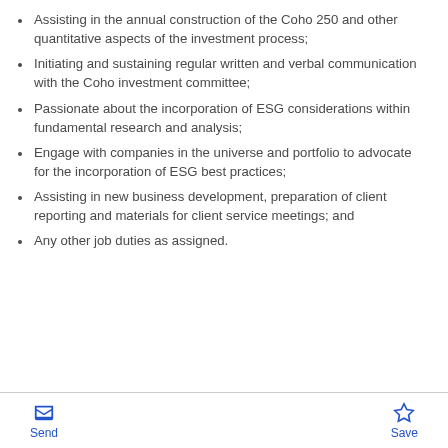Assisting in the annual construction of the Coho 250 and other quantitative aspects of the investment process;
Initiating and sustaining regular written and verbal communication with the Coho investment committee;
Passionate about the incorporation of ESG considerations within fundamental research and analysis;
Engage with companies in the universe and portfolio to advocate for the incorporation of ESG best practices;
Assisting in new business development, preparation of client reporting and materials for client service meetings; and
Any other job duties as assigned.
Send | Save